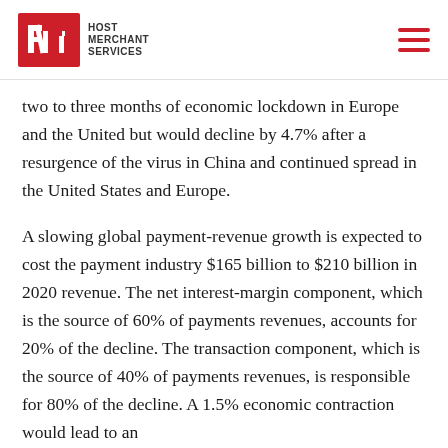Host Merchant Services
two to three months of economic lockdown in Europe and the United but would decline by 4.7% after a resurgence of the virus in China and continued spread in the United States and Europe.
A slowing global payment-revenue growth is expected to cost the payment industry $165 billion to $210 billion in 2020 revenue. The net interest-margin component, which is the source of 60% of payments revenues, accounts for 20% of the decline. The transaction component, which is the source of 40% of payments revenues, is responsible for 80% of the decline. A 1.5% economic contraction would lead to an